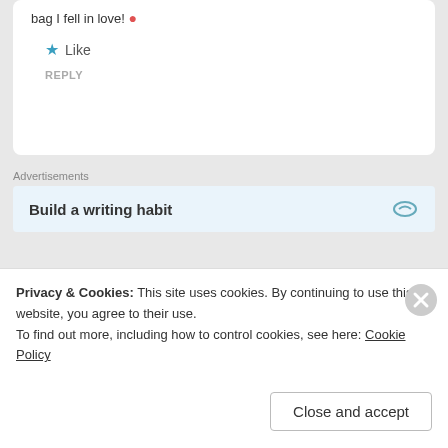bag I fell in love! 🔴
★ Like
REPLY
Advertisements
Build a writing habit
Amanda
Privacy & Cookies: This site uses cookies. By continuing to use this website, you agree to their use. To find out more, including how to control cookies, see here: Cookie Policy
Close and accept